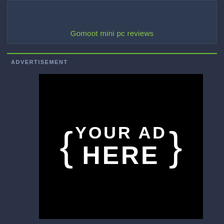Gomoot mini pc reviews
ADVERTISEMENT
[Figure (other): Advertisement placeholder image with text '{YOUR AD HERE}' in white bold letters on black background]